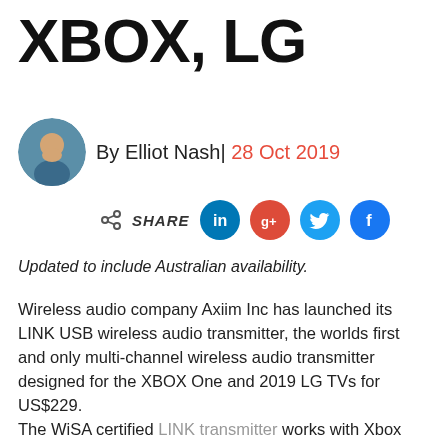XBOX, LG
By Elliot Nash| 28 Oct 2019
[Figure (infographic): Share icons row: share symbol, SHARE label, LinkedIn, Google+, Twitter, Facebook buttons]
Updated to include Australian availability.
Wireless audio company Axiim Inc has launched its LINK USB wireless audio transmitter, the worlds first and only multi-channel wireless audio transmitter designed for the XBOX One and 2019 LG TVs for US$229.
The WiSA certified LINK transmitter works with Xbox